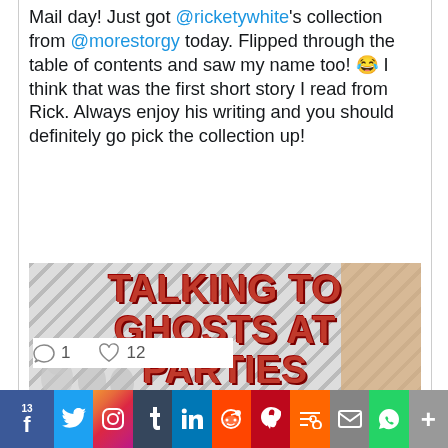Mail day! Just got @ricketywhite's collection from @morestorgy today. Flipped through the table of contents and saw my name too! 😂 I think that was the first short story I read from Rick. Always enjoy his writing and you should definitely go pick the collection up!
[Figure (photo): Book cover of 'Talking to Ghosts at Parties' with red bold text on a striped background, subtitle 'A Joy to Read']
1  12
13 f  t  Instagram  t  in  reddit  P  mix  mail  WhatsApp  +